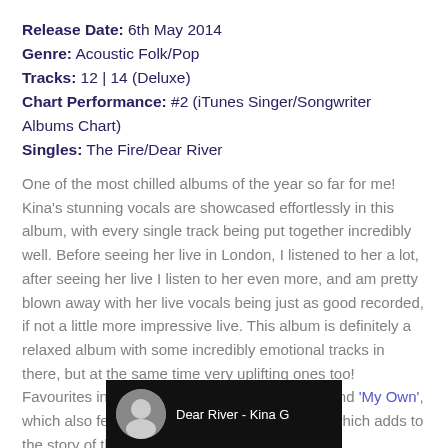Release Date: 6th May 2014
Genre: Acoustic Folk/Pop
Tracks: 12 | 14 (Deluxe)
Chart Performance: #2 (iTunes Singer/Songwriter Albums Chart)
Singles: The Fire/Dear River
One of the most chilled albums of the year so far for me! Kina's stunning vocals are showcased effortlessly in this album, with every single track being put together incredibly well. Before seeing her live in London, I listened to her a lot, after seeing her live I listen to her even more, and am pretty blown away with her live vocals being just as good recorded, if not a little more impressive live. This album is definitely a relaxed album with some incredibly emotional tracks in there, but at the same time very uplifting ones too! Favourites include 'Dear River', 'Forever Blue' and 'My Own', which also features vocals from Kina's sisters, which adds to the story of the song.
[Figure (screenshot): Video thumbnail showing 'Dear River - Kina G' with a circular avatar photo on a dark background]